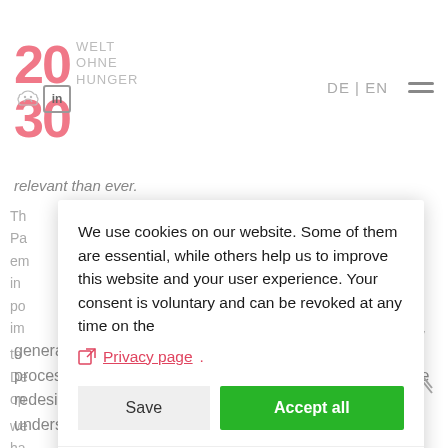[Figure (logo): Welthungerhilfe logo: '2030 WELT OHNE HUNGER' with pink/red numbers and grey text, LinkedIn icon]
relevant than ever.
We use cookies on our website. Some of them are essential, while others help us to improve this website and your user experience. Your consent is voluntary and can be revoked at any time on the Privacy page.
Save | Accept all
Standard | Analytics (toggle) | Third party content (toggle)
Cookies that | We use Matomo | content
generate local value-added, e.g. through more local processing? What role can agroecology play? How can we redesign agricultural research to improve our understanding of zoonotic diseases, for example?